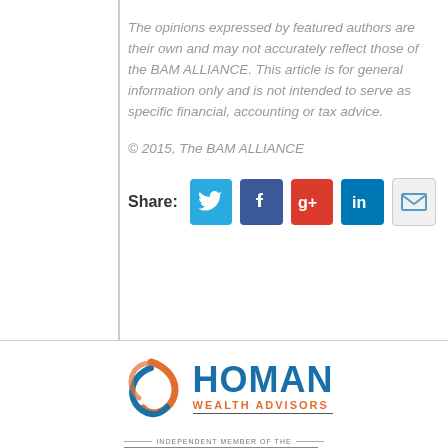The opinions expressed by featured authors are their own and may not accurately reflect those of the BAM ALLIANCE. This article is for general information only and is not intended to serve as specific financial, accounting or tax advice.
© 2015, The BAM ALLIANCE
Share: [Twitter] [Facebook] [Google+] [LinkedIn] [Email]
[Figure (logo): Homan Wealth Advisors logo with orange circular graphic and blue HOMAN text]
[Figure (logo): Independent member of the BAM Alliance badge]